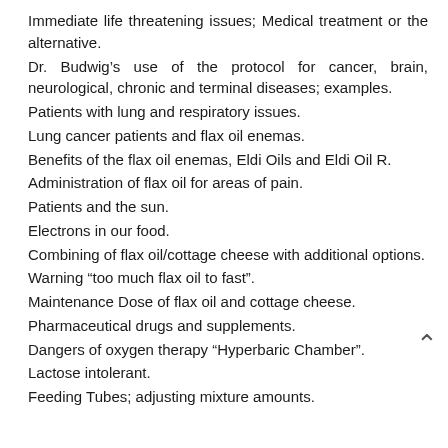Immediate life threatening issues; Medical treatment or the alternative.
Dr. Budwig’s use of the protocol for cancer, brain, neurological, chronic and terminal diseases; examples.
Patients with lung and respiratory issues.
Lung cancer patients and flax oil enemas.
Benefits of the flax oil enemas, Eldi Oils and Eldi Oil R.
Administration of flax oil for areas of pain.
Patients and the sun.
Electrons in our food.
Combining of flax oil/cottage cheese with additional options.
Warning “too much flax oil to fast”.
Maintenance Dose of flax oil and cottage cheese.
Pharmaceutical drugs and supplements.
Dangers of oxygen therapy “Hyperbaric Chamber”.
Lactose intolerant.
Feeding Tubes; adjusting mixture amounts.